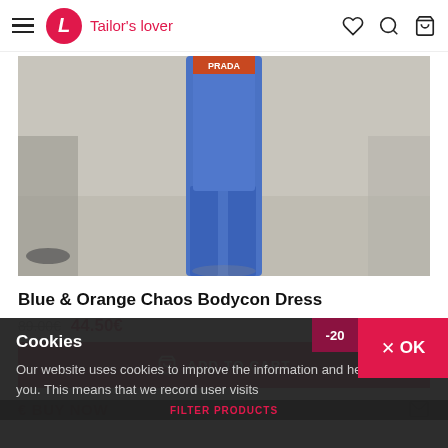Tailor's lover
[Figure (photo): Fashion catwalk photo showing model's lower body wearing a blue bodycon dress and matching blue boots]
Blue & Orange Chaos Bodycon Dress
89.00€  44.50€
ADD TO CART
€ BUY NOW
Cookies
Our website uses cookies to improve the information and help we offer you. This means that we record user visits